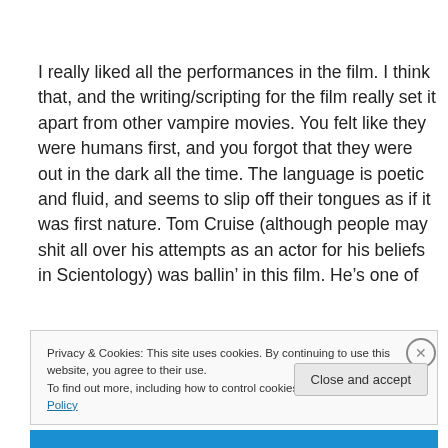I really liked all the performances in the film. I think that, and the writing/scripting for the film really set it apart from other vampire movies. You felt like they were humans first, and you forgot that they were out in the dark all the time. The language is poetic and fluid, and seems to slip off their tongues as if it was first nature. Tom Cruise (although people may shit all over his attempts as an actor for his beliefs in Scientology) was ballin’ in this film. He’s one of
Privacy & Cookies: This site uses cookies. By continuing to use this website, you agree to their use.
To find out more, including how to control cookies, see here: Cookie Policy